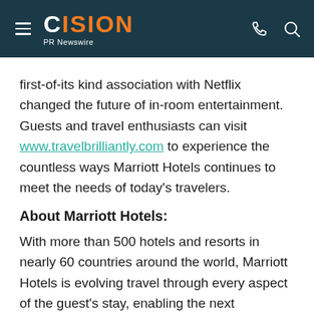CISION PR Newswire
first-of-its kind association with Netflix changed the future of in-room entertainment. Guests and travel enthusiasts can visit www.travelbrilliantly.com to experience the countless ways Marriott Hotels continues to meet the needs of today's travelers.
About Marriott Hotels:
With more than 500 hotels and resorts in nearly 60 countries around the world, Marriott Hotels is evolving travel through every aspect of the guest's stay, enabling the next generation to Travel Brilliantly. Boldly transforming itself for mobile and